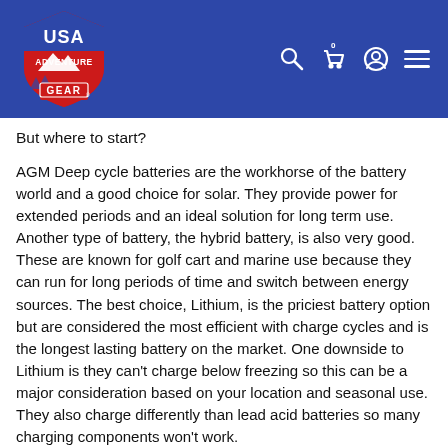USA Adventure Gear
But where to start?
AGM Deep cycle batteries are the workhorse of the battery world and a good choice for solar. They provide power for extended periods and an ideal solution for long term use. Another type of battery, the hybrid battery, is also very good. These are known for golf cart and marine use because they can run for long periods of time and switch between energy sources. The best choice, Lithium, is the priciest battery option but are considered the most efficient with charge cycles and is the longest lasting battery on the market. One downside to Lithium is they can't charge below freezing so this can be a major consideration based on your location and seasonal use. They also charge differently than lead acid batteries so many charging components won't work.
How it works: